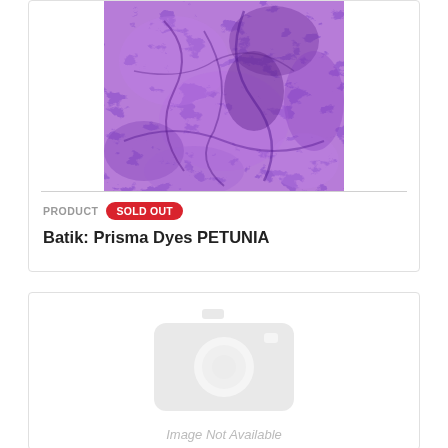[Figure (photo): Purple batik fabric with tie-dye pattern showing mottled purple tones]
PRODUCT   SOLD OUT
Batik: Prisma Dyes PETUNIA
[Figure (photo): Placeholder image: grey camera icon with 'Image Not Available' text below]